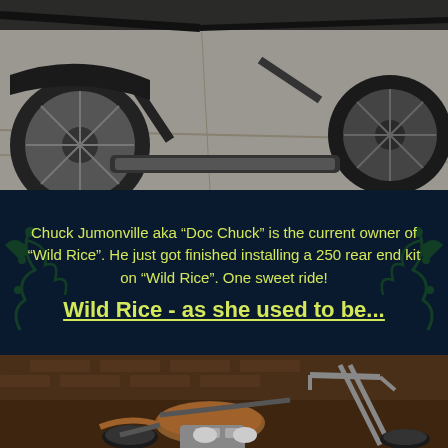[Figure (photo): Close-up photo of a motorcycle's rear wheel and drivetrain on a concrete driveway surface, top portion cropped]
Chuck Jumonville aka “Doc Chuck” is the current owner of “Wild Rice”. He just got finished installing a 250 rear end kit on “Wild Rice”. One sweet ride!
Wild Rice - as she used to be...
[Figure (photo): Photo of a custom chopper-style motorcycle with extended front forks, dark copper/bronze metallic paint, chrome engine, parked in front of a brick building]